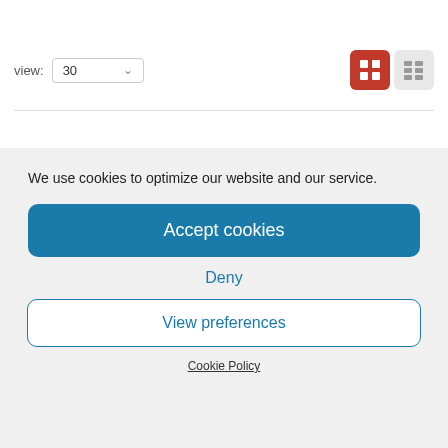view: 30
[Figure (screenshot): Product thumbnail image showing a fireplace/heater with orange glow, partially visible, with a search/zoom icon button next to it]
We use cookies to optimize our website and our service.
Accept cookies
Deny
View preferences
Cookie Policy